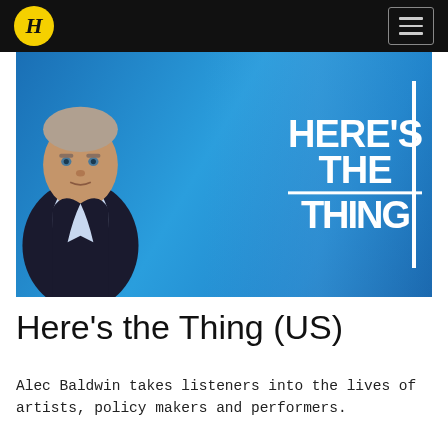H (Huffington Post logo) — hamburger menu
[Figure (photo): Promotional image for 'Here's the Thing' podcast. A middle-aged man in a dark suit and light blue shirt looks directly at the camera against a bright blue curtain background. Large bold white text reads HERE'S THE THING with a vertical white bar accent.]
Here's the Thing (US)
Alec Baldwin takes listeners into the lives of artists, policy makers and performers.